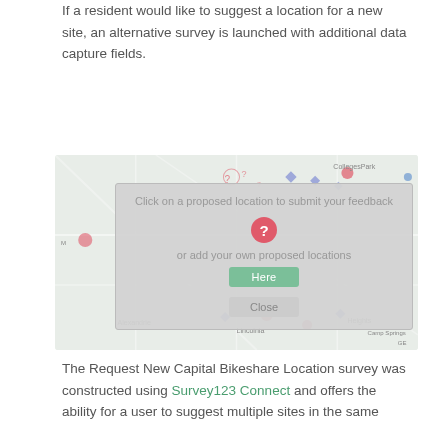If a resident would like to suggest a location for a new site, an alternative survey is launched with additional data capture fields.
[Figure (screenshot): Screenshot of a map-based survey interface showing a modal dialog overlaid on a map. The modal asks users to 'Click on a proposed location to submit your feedback' with a question mark icon, 'or add your own proposed locations' with a 'Here' button and a 'Close' button. The background map shows various location markers across what appears to be the Washington DC area.]
The Request New Capital Bikeshare Location survey was constructed using Survey123 Connect and offers the ability for a user to suggest multiple sites in the same